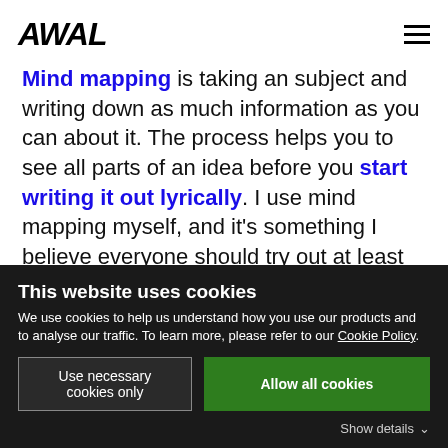AWAL
Mind mapping is taking an subject and writing down as much information as you can about it. The process helps you to see all parts of an idea before you start writing it out lyrically. I use mind mapping myself, and it's something I believe everyone should try out at least once.
By mind mapping your ideas before you start
This website uses cookies
We use cookies to help us understand how you use our products and to analyse our traffic. To learn more, please refer to our Cookie Policy.
Use necessary cookies only | Allow all cookies
Show details